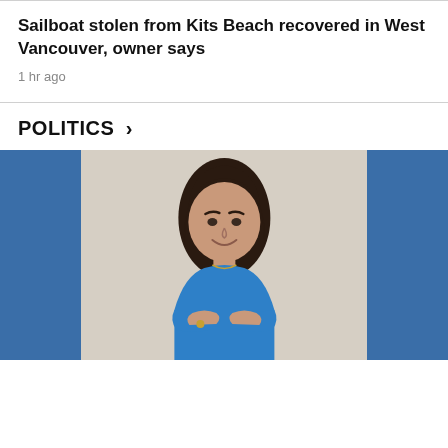Sailboat stolen from Kits Beach recovered in West Vancouver, owner says
1 hr ago
POLITICS >
[Figure (photo): Woman with dark shoulder-length hair, smiling, wearing a blue top with arms crossed, photographed against a beige/cream background with blue panels on either side]